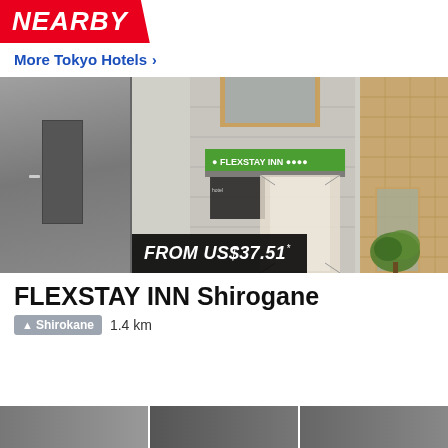NEARBY
More Tokyo Hotels >
[Figure (photo): Exterior photo of FLEXSTAY INN Shirogane hotel entrance showing building facade with green signage canopy]
FROM US$37.51 *
FLEXSTAY INN Shirogane
Shirokane  1.4 km
[Figure (photo): Bottom strip showing partial view of another hotel or nearby area]